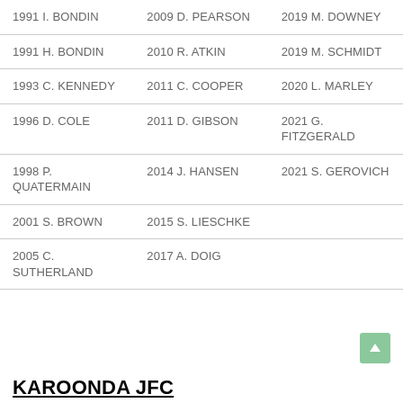| 1991 I. BONDIN | 2009 D. PEARSON | 2019 M. DOWNEY |
| 1991 H. BONDIN | 2010 R. ATKIN | 2019 M. SCHMIDT |
| 1993 C. KENNEDY | 2011 C. COOPER | 2020 L. MARLEY |
| 1996 D. COLE | 2011 D. GIBSON | 2021 G. FITZGERALD |
| 1998 P. QUATERMAIN | 2014 J. HANSEN | 2021 S. GEROVICH |
| 2001 S. BROWN | 2015 S. LIESCHKE |  |
| 2005 C. SUTHERLAND | 2017 A. DOIG |  |
KAROONDA JFC